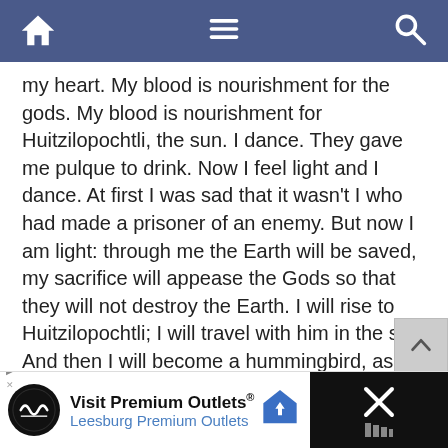[Navigation bar with home, menu, and search icons]
my heart. My blood is nourishment for the gods. My blood is nourishment for Huitzilopochtli, the sun. I dance. They gave me pulque to drink. Now I feel light and I dance. At first I was sad that it wasn't I who had made a prisoner of an enemy. But now I am light: through me the Earth will be saved, my sacrifice will appease the Gods so that they will not destroy the Earth. I will rise to Huitzilopochtli; I will travel with him in the sky. And then I will become a hummingbird, as will all brave warriors who fall in battle, who are sacrificed in battle, and will fly from flower to flower and always be happy as long as the Earth exists. That's the way it has always been, and that's the way it must be.
[Figure (infographic): Advertisement banner: Visit Premium Outlets® Leesburg Premium Outlets, with logo and navigation arrow icon. Right side shows an X close button on black background.]